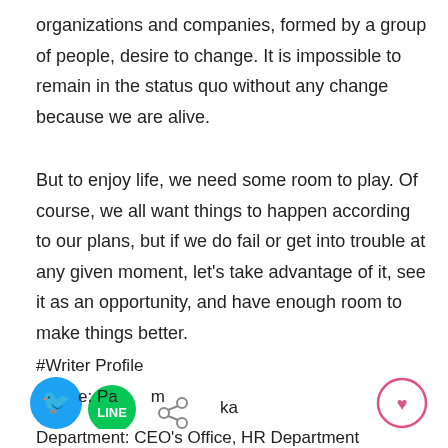organizations and companies, formed by a group of people, desire to change. It is impossible to remain in the status quo without any change because we are alive.
But to enjoy life, we need some room to play. Of course, we all want things to happen according to our plans, but if we do fail or get into trouble at any given moment, let's take advantage of it, see it as an opportunity, and have enough room to make things better.
#Writer Profile
[Figure (other): Social sharing icons: Twitter bird icon (blue circle), LINE icon (green circle), share icon, and a heart icon (red outline circle) on the right]
Name: Patcharima Vongsunka
Department: CEO's Office, HR Department